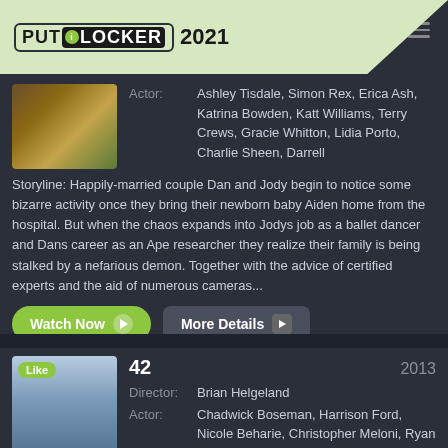PUTLOCKER 2021
Actor: Ashley Tisdale, Simon Rex, Erica Ash, Katrina Bowden, Katt Williams, Terry Crews, Gracie Whitton, Lidia Porto, Charlie Sheen, Darrell
Storyline: Happily-married couple Dan and Jody begin to notice some bizarre activity once they bring their newborn baby Aiden home from the hospital. But when the chaos expands into Jodys job as a ballet dancer and Dans career as an Ape researcher they realize their family is being stalked by a nefarious demon. Together with the advice of certified experts and the aid of numerous cameras...
Watch Now
More Details
42
2013
Director: Brian Helgeland
Actor: Chadwick Boseman, Harrison Ford, Nicole Beharie, Christopher Meloni, Ryan Merriman, Lucas Black, Andre Holland, Alan Tudyk, Hamish
Storyline: The life story of Jackie Robinson and his history-making signing with the Brooklyn Dodgers under the